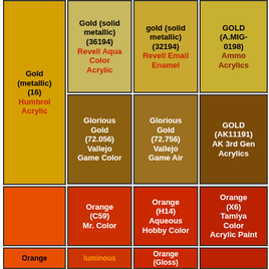| Gold (metallic) (16) Humbrol Acrylic | Gold (solid metallic) (36194) Revell Aqua Color Acrylic | gold (solid metallic) (32194) Revell Email Enamel | GOLD (A.MIG-0198) Ammo Acrylics |
|  | Glorious Gold (72.056) Vallejo Game Color | Glorious Gold (72.756) Vallejo Game Air | GOLD (AK11191) AK 3rd Gen Acrylics |
|  | Orange (C59) Mr. Color | Orange (H14) Aqueous Hobby Color | Orange (X6) Tamiya Color Acrylic Paint |
| Orange | luminous | Orange (Gloss) |  |